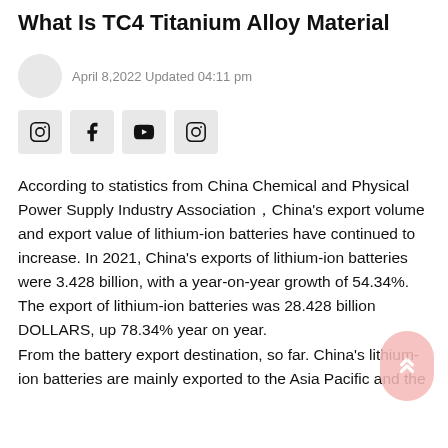What Is TC4 Titanium Alloy Material
April 8,2022 Updated 04:11 pm
According to statistics from China Chemical and Physical Power Supply Industry Association，China's export volume and export value of lithium-ion batteries have continued to increase. In 2021, China's exports of lithium-ion batteries were 3.428 billion, with a year-on-year growth of 54.34%. The export of lithium-ion batteries was 28.428 billion DOLLARS, up 78.34% year on year.
From the battery export destination, so far. China's lithium-ion batteries are mainly exported to the Asia Pacific and the